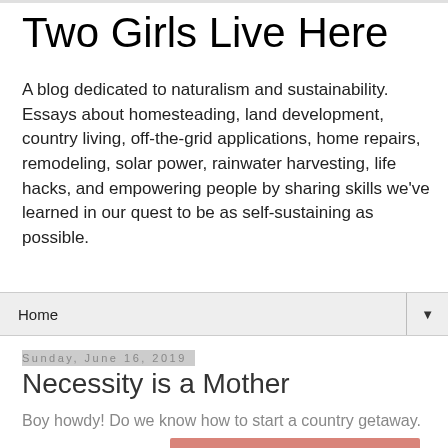Two Girls Live Here
A blog dedicated to naturalism and sustainability. Essays about homesteading, land development, country living, off-the-grid applications, home repairs, remodeling, solar power, rainwater harvesting, life hacks, and empowering people by sharing skills we've learned in our quest to be as self-sustaining as possible.
Home ▼
Sunday, June 16, 2019
Necessity is a Mother
Boy howdy! Do we know how to start a country getaway.
[Figure (photo): Partial photo visible at the bottom of the page, showing a reddish-pink surface]